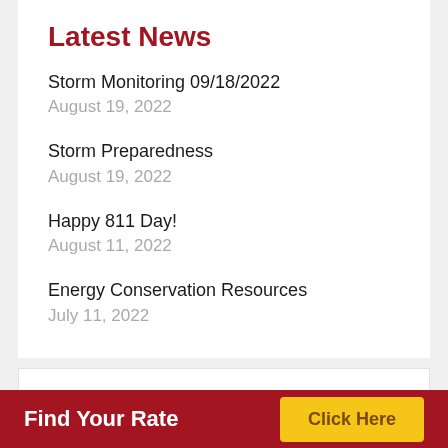Latest News
Storm Monitoring 09/18/2022
August 19, 2022
Storm Preparedness
August 19, 2022
Happy 811 Day!
August 11, 2022
Energy Conservation Resources
July 11, 2022
Ready to Join?
Find Your Rate  Click Here